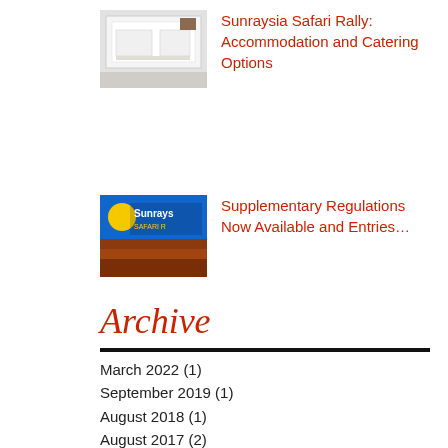[Figure (photo): Photo of a hotel room with white bed and furniture]
Sunraysia Safari Rally: Accommodation and Catering Options
[Figure (logo): Sunraysia Safari Rally logo with sun and landscape design]
Supplementary Regulations Now Available and Entries…
Archive
March 2022 (1)
September 2019 (1)
August 2018 (1)
August 2017 (2)
May 2017 (2)
March 2017 (4)
November 2016 (1)
July 2016 (1)